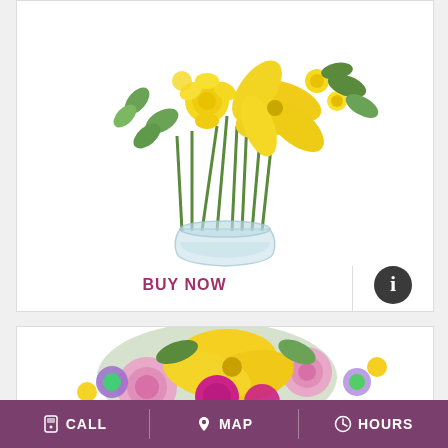[Figure (photo): Yellow flower arrangement in a clear glass vase with yellow lilies, roses, and eucalyptus greenery — YELLOW FRENZY product]
YELLOW FRENZY    $60.00
BUY NOW
[Figure (photo): Colorful spring flower bouquet with pink roses, yellow lilies, magenta carnations, and purple asters]
CALL   MAP   HOURS